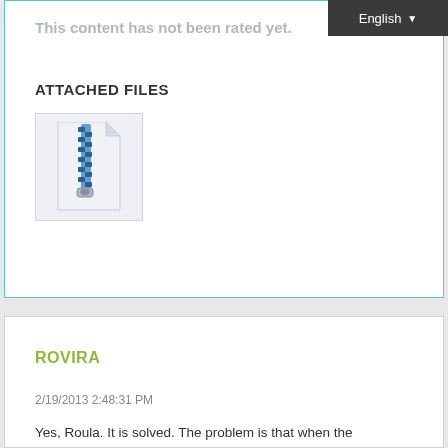English
This content has not been rated yet.
ATTACHED FILES
[Figure (illustration): ZIP file icon — a white folded document with a blue zipper/zipper teeth running down the center, with a zipper pull at the bottom. Light blue-gray background box.]
ROVIRA
2/19/2013 2:48:31 PM
Yes, Roula. It is solved. The problem is that when the